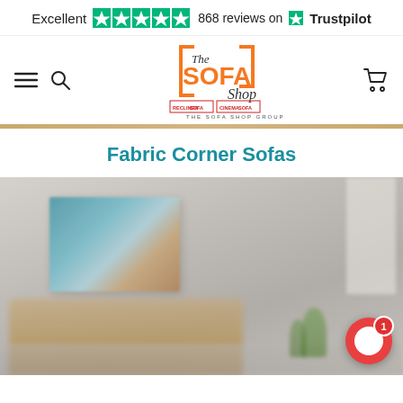[Figure (logo): Trustpilot bar: Excellent with 5 green stars, 868 reviews on Trustpilot]
[Figure (logo): The Sofa Shop logo with navigation bar including hamburger menu, search icon, and cart icon]
Fabric Corner Sofas
[Figure (photo): Blurred lifestyle photo of a living room with a corner sofa, wall art, and plants]